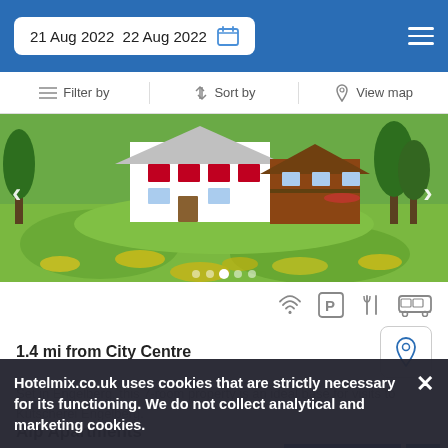21 Aug 2022  22 Aug 2022
Filter by
Sort by
View map
[Figure (photo): Exterior photo of a property with white and wood-paneled building on a green hillside with yellow wildflowers in the foreground]
1.4 mi from City Centre
Set in Engelberg, this 7-room property is an ideal base for visits to Kutscherei Engelberg.
SELECT
Hotelmix.co.uk uses cookies that are strictly necessary for its functioning. We do not collect analytical and marketing cookies.
Alp Apartments